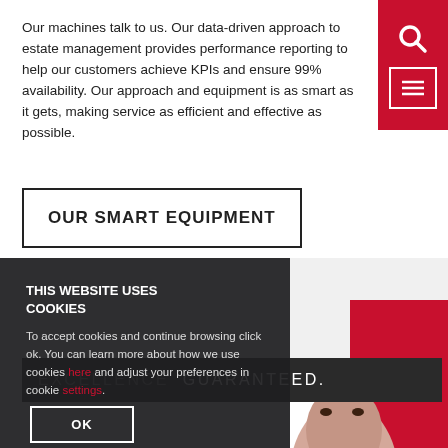Our machines talk to us. Our data-driven approach to estate management provides performance reporting to help our customers achieve KPIs and ensure 99% availability. Our approach and equipment is as smart as it gets, making service as efficient and effective as possible.
[Figure (infographic): Red navigation icon bar with search icon and menu/list icon on white background in top right corner]
OUR SMART EQUIPMENT
THIS WEBSITE USES COOKIES
To accept cookies and continue browsing click ok. You can learn more about how we use cookies here and adjust your preferences in cookie settings.
OK
EXCELLENCE GUARANTEED.
[Figure (photo): Partial photo of a person's face against a red background in the lower right area of the page]